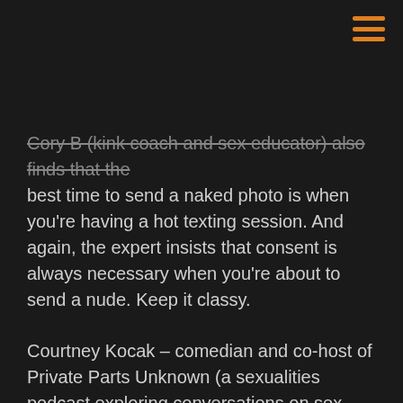[Figure (other): Hamburger menu icon with three horizontal orange lines in top-right corner]
Cory B (kink coach and sex educator) also finds that the best time to send a naked photo is when you're having a hot texting session. And again, the expert insists that consent is always necessary when you're about to send a nude. Keep it classy.
Courtney Kocak – comedian and co-host of Private Parts Unknown (a sexualities podcast exploring conversations on sex, dating, and gender) – once again highlights the importance of consent and the disregard for lame unsolicited dick portraits, even though most of the nudes